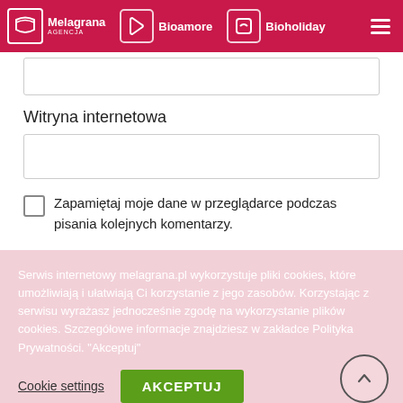[Figure (screenshot): Navigation bar with Melagrana Agencja, Bioamore, and Bioholiday logos on pink/crimson background with hamburger menu icon]
(input field - email or text)
Witryna internetowa
(input field - website URL)
Zapamiętaj moje dane w przeglądarce podczas pisania kolejnych komentarzy.
Serwis internetowy melagrana.pl wykorzystuje pliki cookies, które umożliwiają i ułatwiają Ci korzystanie z jego zasobów. Korzystając z serwisu wyrażasz jednocześnie zgodę na wykorzystanie plików cookies. Szczegółowe informacje znajdziesz w zakładce Polityka Prywatności. "Akceptuj"
Cookie settings
AKCEPTUJ